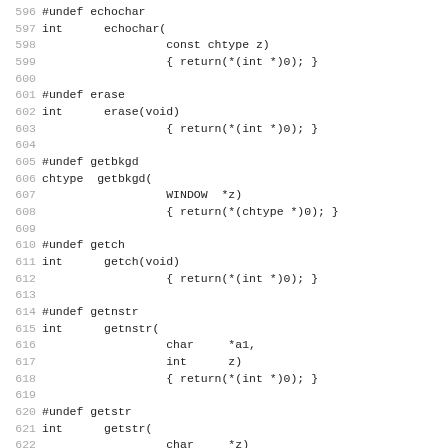[Figure (screenshot): Source code listing in monospace font showing C preprocessor undef macros and function stubs for echochar, erase, getbkgd, getch, getnstr, getstr, and hline, with line numbers 596-627.]